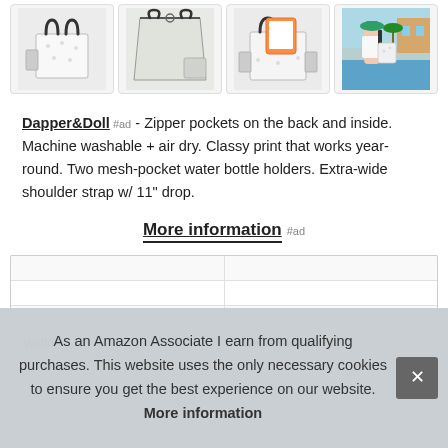[Figure (photo): Four product images of a beach tote bag shown from different angles and in use]
Dapper&Doll #ad - Zipper pockets on the back and inside. Machine washable + air dry. Classy print that works year-round. Two mesh-pocket water bottle holders. Extra-wide shoulder strap w/ 11" drop.
More information #ad
| Width | Twelve Inches |
As an Amazon Associate I earn from qualifying purchases. This website uses the only necessary cookies to ensure you get the best experience on our website. More information